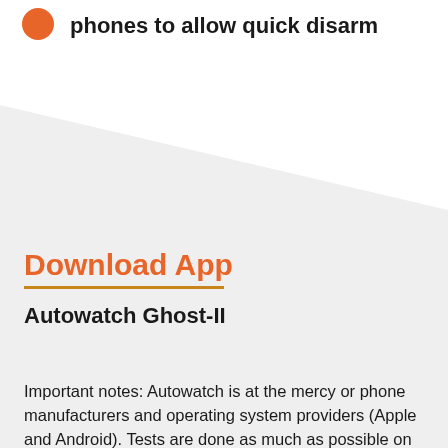phones to allow quick disarm
Download App
Autowatch Ghost-II
Important notes: Autowatch is at the mercy or phone manufacturers and operating system providers (Apple and Android). Tests are done as much as possible on as many devices as